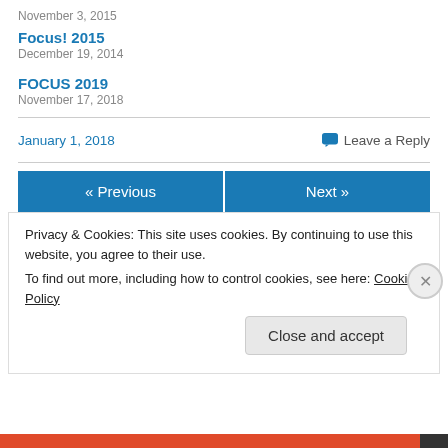November 3, 2015
Focus! 2015
December 19, 2014
FOCUS 2019
November 17, 2018
January 1, 2018
Leave a Reply
« Previous
Next »
Privacy & Cookies: This site uses cookies. By continuing to use this website, you agree to their use.
To find out more, including how to control cookies, see here: Cookie Policy
Close and accept